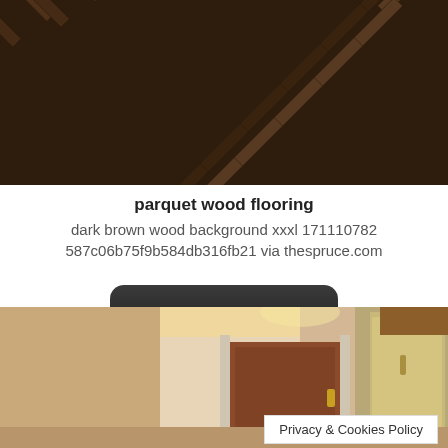[Figure (photo): Dark brown herringbone/chevron parquet wood flooring texture, top-cropped]
parquet wood flooring
dark brown wood background xxxl 171110782
587c06b75f9b584db316fb21 via thespruce.com
[Figure (screenshot): Black rounded-rectangle button with white bold text reading 'View Image']
[Figure (photo): Interior hallway/kitchen area with warm lighting, a brown door, white walls, and a stainless steel refrigerator visible]
Privacy & Cookies Policy